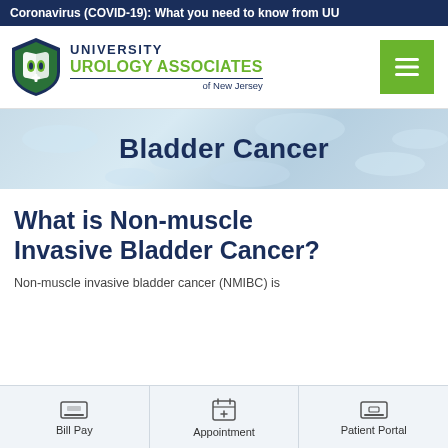Coronavirus (COVID-19): What you need to know from UU
[Figure (logo): University Urology Associates of New Jersey logo with shield emblem and hamburger menu button]
Bladder Cancer
What is Non-muscle Invasive Bladder Cancer?
Non-muscle invasive bladder cancer (NMIBC) is
Bill Pay | Appointment | Patient Portal